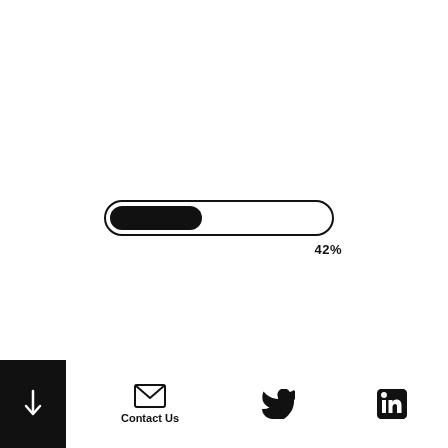[Figure (other): A horizontal progress bar showing 42% completion. The bar has a rounded pill shape with a black outline on white background. The left 42% is filled with a solid black rounded rectangle. Below the bar, the text '42%' appears right-aligned.]
↓  Contact Us  [Twitter icon]  [LinkedIn icon]